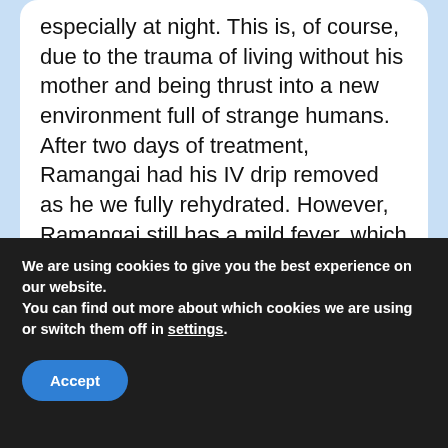especially at night. This is, of course, due to the trauma of living without his mother and being thrust into a new environment full of strange humans. After two days of treatment, Ramangai had his IV drip removed as he we fully rehydrated. However, Ramangai still has a mild fever, which we are closely monitoring. Unlike Onyer, Ramangai prefers to sit quietly in a basket, supervised by our dedicated surrogate mothers.
We are using cookies to give you the best experience on our website.
You can find out more about which cookies we are using or switch them off in settings.
Accept